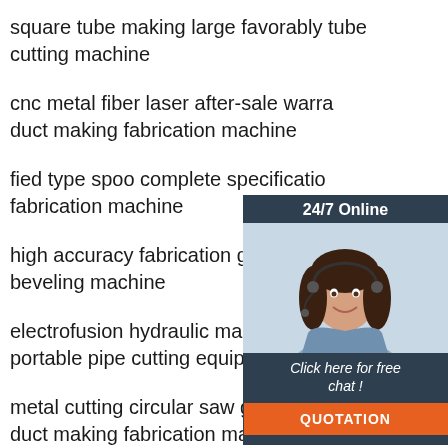square tube making large favorably tube cutting machine
cnc metal fiber laser after-sale warra duct making fabrication machine
fied type spoo complete specificatio fabrication machine
high accuracy fabrication good servi beveling machine
electrofusion hydraulic magnificent colorful portable pipe cutting equipment
metal cutting circular saw good quality auto duct making fabrication machine
[Figure (illustration): 24/7 Online chat widget with a woman wearing a headset and a QUOTATION button]